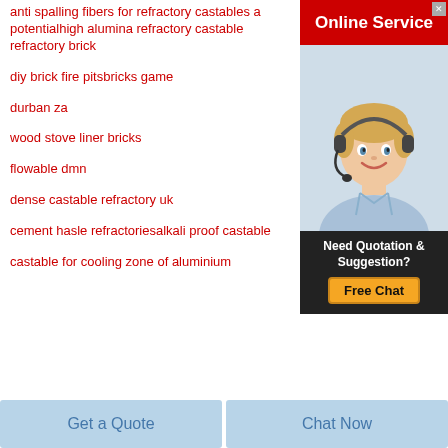anti spalling fibers for refractory castables a potentialhigh alumina refractory castable refractory brick
diy brick fire pitsbricks game
durban za
wood stove liner bricks
flowable dmn
dense castable refractory uk
cement hasle refractoriesalkali proof castable
castable for cooling zone of aluminium
[Figure (illustration): Online Service banner with a female customer service agent wearing a headset, red header saying 'Online Service', dark footer with 'Need Quotation & Suggestion?' text and yellow 'Free Chat' button]
Get a Quote
Chat Now